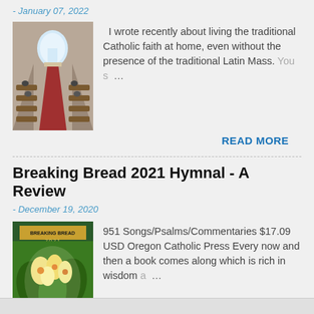- January 07, 2022
[Figure (photo): Interior of a Catholic church with red carpet aisle, wooden pews, and arched window at the far end]
I wrote recently about living the traditional Catholic faith at home, even without the presence of the traditional Latin Mass. You s… …
READ MORE
Breaking Bread 2021 Hymnal - A Review
- December 19, 2020
[Figure (photo): Cover of the Breaking Bread 2021 hymnal book showing floral artwork]
951 Songs/Psalms/Commentaries $17.09 USD Oregon Catholic Press Every now and then a book comes along which is rich in wisdom a… …
READ MORE